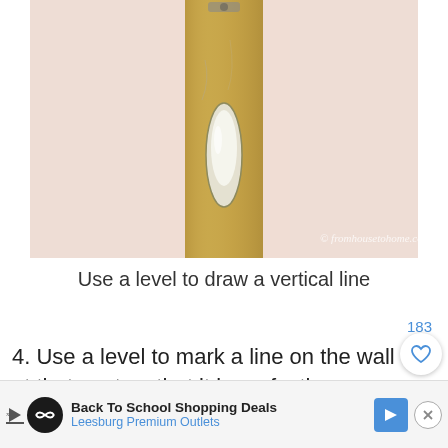[Figure (photo): Close-up photo of a wooden door frame or level tool pressed against a wall, showing a white oblong bubble level vial. The background is a light pinkish-beige wall. Watermark reads '© fromhousetohome.com' in white italic text at the bottom right of the image.]
Use a level to draw a vertical line
183
4. Use a level to mark a line on the wall at that spot so that it is perfectly vertical.
Back To School Shopping Deals
Leesburg Premium Outlets